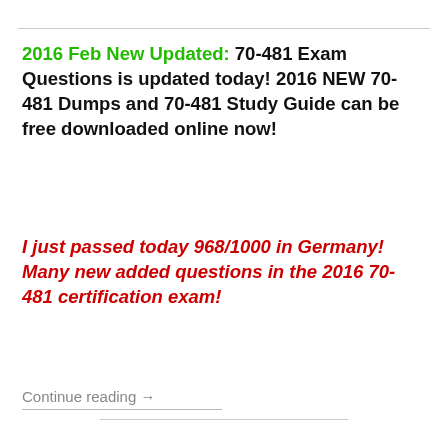2016 Feb New Updated: 70-481 Exam Questions is updated today! 2016 NEW 70-481 Dumps and 70-481 Study Guide can be free downloaded online now!
I just passed today 968/1000 in Germany! Many new added questions in the 2016 70-481 certification exam!
Continue reading →